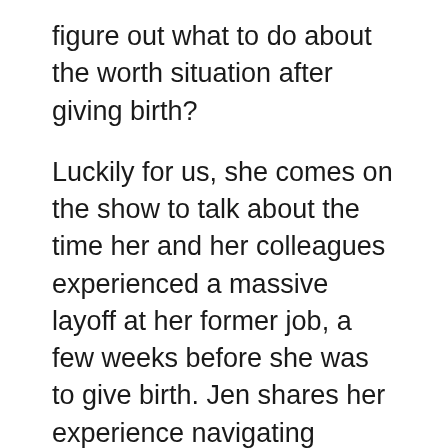figure out what to do about the worth situation after giving birth?
Luckily for us, she comes on the show to talk about the time her and her colleagues experienced a massive layoff at her former job, a few weeks before she was to give birth. Jen shares her experience navigating healthcare insurance, how she grew her income with the help of her network, why her body reacted the way it did, and what this experience taught her about her ambition and relationship to work.
SUBSCRIBE Apple Podcasts